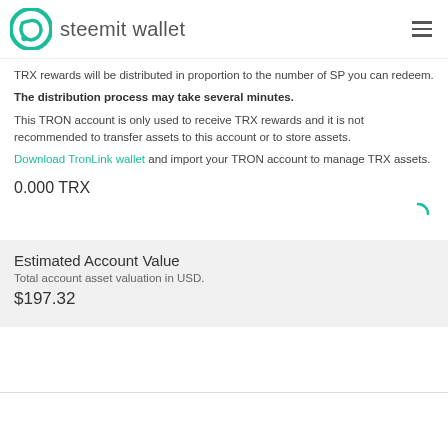steemit wallet
TRX rewards will be distributed in proportion to the number of SP you can redeem. The distribution process may take several minutes. This TRON account is only used to receive TRX rewards and it is not recommended to transfer assets to this account or to store assets. Download TronLink wallet and import your TRON account to manage TRX assets.
0.000 TRX
Estimated Account Value
Total account asset valuation in USD.
$197.32